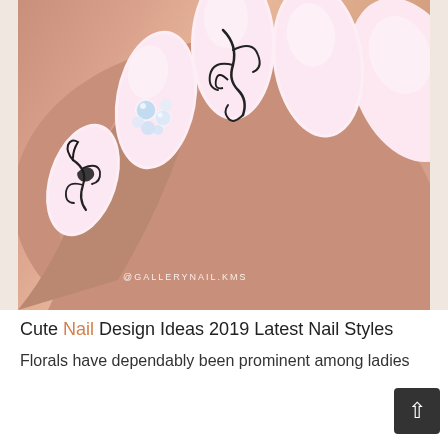[Figure (photo): Close-up photo of a hand with elegant nail art: pink/blush almond-shaped nails with black floral flourish designs on some nails and crystal/gem embellishments on one nail. Watermark reads @GALLERYNAIL.KMS]
Cute Nail Design Ideas 2019 Latest Nail Styles
Florals have dependably been prominent among ladies